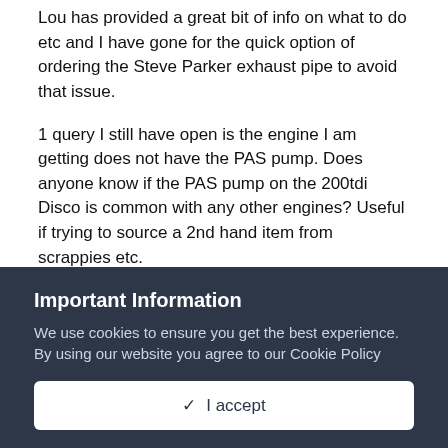Lou has provided a great bit of info on what to do etc and I have gone for the quick option of ordering the Steve Parker exhaust pipe to avoid that issue.
1 query I still have open is the engine I am getting does not have the PAS pump. Does anyone know if the PAS pump on the 200tdi Disco is common with any other engines? Useful if trying to source a 2nd hand item from scrappies etc.
Alternatively, has anyone managed to fit the TD or other items to a Disco 200tdi? Does anyone have a PAS pump lying around?
As another point, could I use the TD fuel filter or should I get a tdi fuel filter housing?
Well any info will be gratefully received. I will also let you know how it goes and keep photo's etc to also help any further souls
Important Information
We use cookies to ensure you get the best experience. By using our website you agree to our Cookie Policy
✓  I accept